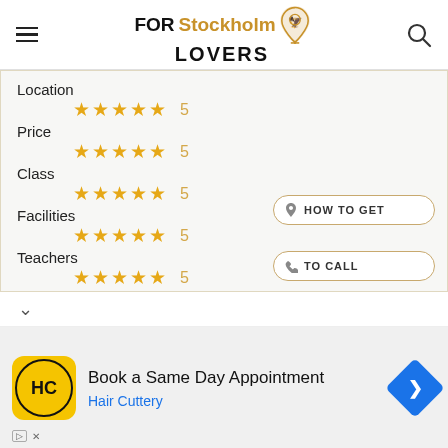FOR Stockholm LOVERS
Location
★★★★★  5
Price
★★★★★  5
Class
★★★★★  5
Facilities
★★★★★  5
Teachers
★★★★★  5
HOW TO GET
TO CALL
[Figure (infographic): Advertisement: Book a Same Day Appointment - Hair Cuttery, with HC logo and navigation arrow icon]